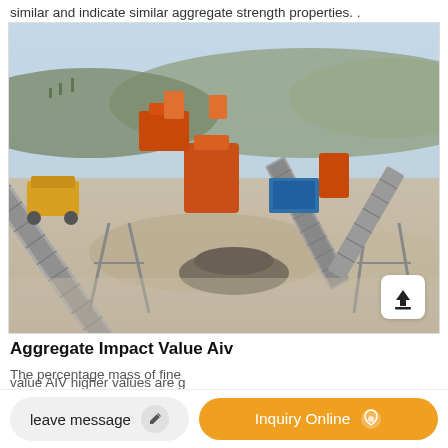similar and indicate similar aggregate strength properties. .
[Figure (photo): Aerial/elevated view of a quarry aggregate processing site with orange conveyor belts, crushers, and construction machinery on a dusty ground with mountains in the background.]
Aggregate Impact Value Aiv
The percentage mass of fine
value AIV higher values are g